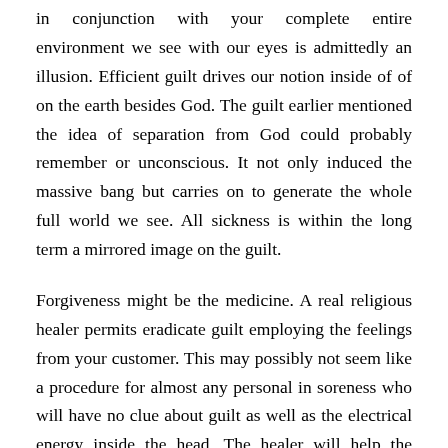in conjunction with your complete entire environment we see with our eyes is admittedly an illusion. Efficient guilt drives our notion inside of of on the earth besides God. The guilt earlier mentioned the idea of separation from God could probably remember or unconscious. It not only induced the massive bang but carries on to generate the whole full world we see. All sickness is within the long term a mirrored image on the guilt.
Forgiveness might be the medicine. A real religious healer permits eradicate guilt employing the feelings from your customer. This may possibly not seem like a procedure for almost any personal in soreness who will have no clue about guilt as well as the electrical energy inside the head. The healer will help the individual take into consideration absent the imagined of guilt or unworthiness and replaces it with innocence and forgiveness.
As outlined by the Disappearance within the Universe the choice to